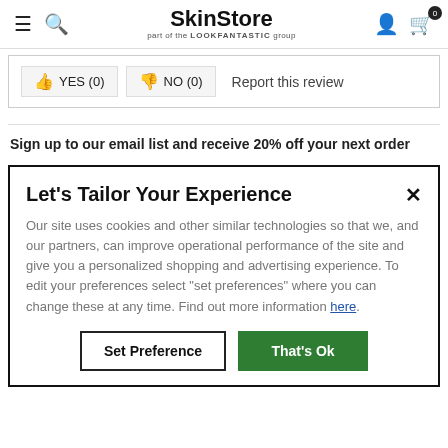SkinStore — part of the LOOKFANTASTIC group
YES (0)   NO (0)   Report this review
Sign up to our email list and receive 20% off your next order
Let's Tailor Your Experience
Our site uses cookies and other similar technologies so that we, and our partners, can improve operational performance of the site and give you a personalized shopping and advertising experience. To edit your preferences select "set preferences" where you can change these at any time. Find out more information here.
Set Preference   That's Ok